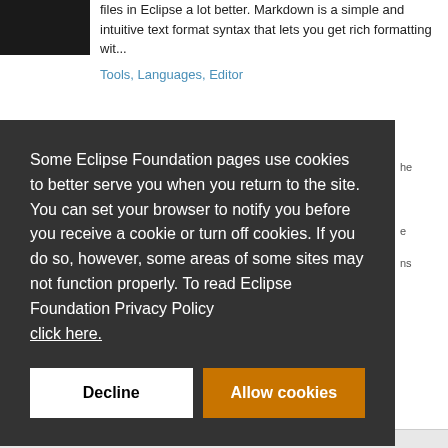[Figure (other): Black rectangle image placeholder in top left]
files in Eclipse a lot better. Markdown is a simple and intuitive text format syntax that lets you get rich formatting wit...
Tools, Languages, Editor
Some Eclipse Foundation pages use cookies to better serve you when you return to the site. You can set your browser to notify you before you receive a cookie or turn off cookies. If you do so, however, some areas of some sites may not function properly. To read Eclipse Foundation Privacy Policy click here.
Decline
Allow cookies